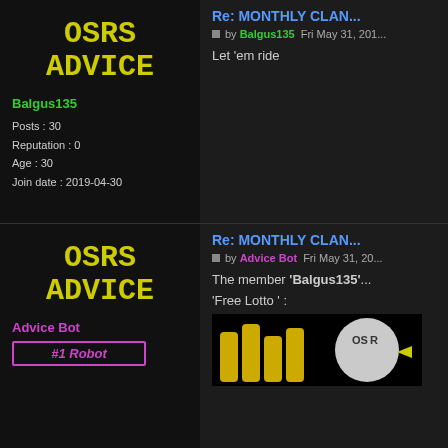[Figure (logo): OSRS ADVICE logo in yellow pixel/monospace font on dark background]
Balgus135
Posts : 30
Reputation : 0
Age : 30
Join date : 2019-04-30
Re: MONTHLY CLAN...
by Balgus135 Fri May 31, 201...
Let 'em ride
[Figure (logo): OSRS ADVICE logo in yellow pixel/monospace font on dark background]
Advice Bot
#1 Robot
Re: MONTHLY CLAN...
by Advice Bot Fri May 31, 20...
The member 'Balgus135'...
'Free Lotto ' :
[Figure (screenshot): Image showing yellow bar chart shapes and OSRS logo partial]